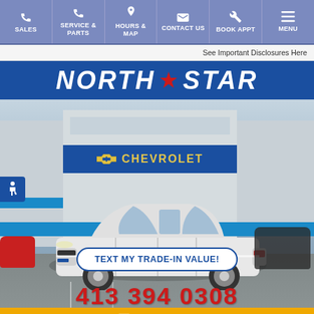[Figure (screenshot): Navigation bar with icons for Sales, Service & Parts, Hours & Map, Contact Us, Book Appt, Menu on a blue-grey background]
See Important Disclosures Here
[Figure (photo): North Star Chevrolet dealership website screenshot showing dealership building with Chevrolet signage, a white SUV in the foreground, a 'TEXT MY TRADE-IN VALUE!' button, and phone number 413-394-0308 with a Chat With Us bar at the bottom]